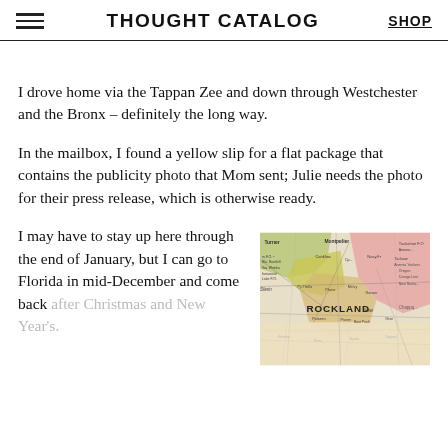THOUGHT CATALOG  SHOP
I drove home via the Tappan Zee and down through Westchester and the Bronx – definitely the long way.
In the mailbox, I found a yellow slip for a flat package that contains the publicity photo that Mom sent; Julie needs the photo for their press release, which is otherwise ready.
I may have to stay up here through the end of January, but I can go to Florida in mid-December and come back after Christmas and New Year's.
[Figure (map): Vintage map showing the Rockland area with roads, towns, and colored regions including Turner, Montpelier, and surrounding areas.]